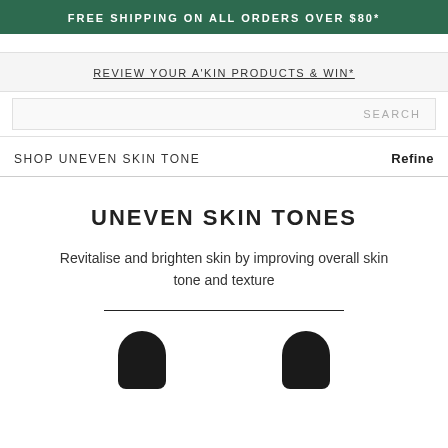FREE SHIPPING ON ALL ORDERS OVER $80*
REVIEW YOUR A'KIN PRODUCTS & WIN*
SEARCH
SHOP UNEVEN SKIN TONE
Refine
UNEVEN SKIN TONES
Revitalise and brighten skin by improving overall skin tone and texture
[Figure (photo): Two dark product bottles (serums/droppers) partially visible at bottom of page]